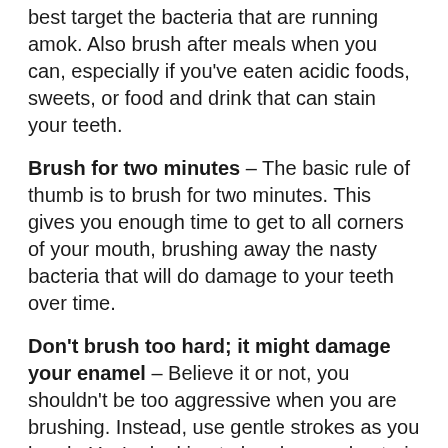best target the bacteria that are running amok. Also brush after meals when you can, especially if you've eaten acidic foods, sweets, or food and drink that can stain your teeth.
Brush for two minutes – The basic rule of thumb is to brush for two minutes. This gives you enough time to get to all corners of your mouth, brushing away the nasty bacteria that will do damage to your teeth over time.
Don't brush too hard; it might damage your enamel – Believe it or not, you shouldn't be too aggressive when you are brushing. Instead, use gentle strokes as you brush. You're looking to brush away bacteria and food waste, not scrape off your tooth enamel.
Use short strokes as you brush – When brushing, short, swift strokes are ideal. This will focus your energy on specific sections of your mouth. Using long strokes make it too easy to miss spots in your mouth, and when that happens bacteria and plaque can get a foothold in